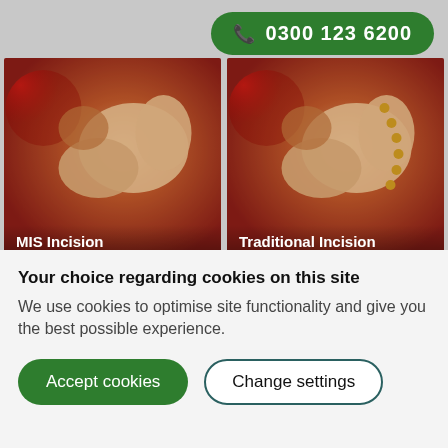0300 123 6200
[Figure (photo): Side-by-side medical illustration showing MIS Incision (left) and Traditional Incision (right) hip surgery techniques. Both images show anatomical diagrams of hip joint area with surgical approach differences highlighted.]
MIS Incision
Traditional Incision
This type of surgery is just as safe and effective as traditional hip surgery, but with quicker recovery
Your choice regarding cookies on this site
We use cookies to optimise site functionality and give you the best possible experience.
Accept cookies
Change settings